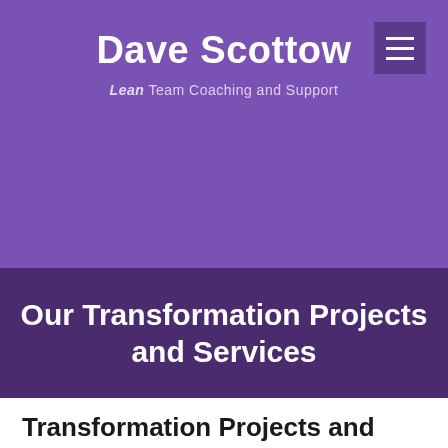Dave Scottow
Lean Team Coaching and Support
[Figure (other): Hamburger menu icon — three horizontal white lines on a dark purple square background]
Our Transformation Projects and Services
Transformation Projects and